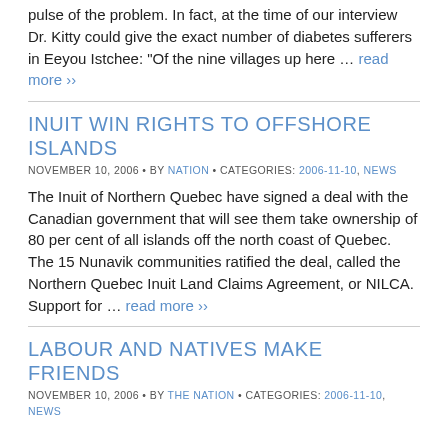pulse of the problem. In fact, at the time of our interview Dr. Kitty could give the exact number of diabetes sufferers in Eeyou Istchee: "Of the nine villages up here … read more ››
INUIT WIN RIGHTS TO OFFSHORE ISLANDS
NOVEMBER 10, 2006 • BY NATION • CATEGORIES: 2006-11-10, NEWS
The Inuit of Northern Quebec have signed a deal with the Canadian government that will see them take ownership of 80 per cent of all islands off the north coast of Quebec. The 15 Nunavik communities ratified the deal, called the Northern Quebec Inuit Land Claims Agreement, or NILCA. Support for … read more ››
LABOUR AND NATIVES MAKE FRIENDS
NOVEMBER 10, 2006 • BY THE NATION • CATEGORIES: 2006-11-10, NEWS